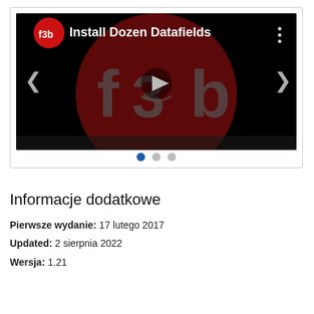[Figure (screenshot): Video player screenshot showing 'f3b Install Dozen Datafields' with a dark background, red circle logo, play button overlay, navigation arrows, and carousel dots below.]
Informacje dodatkowe
Pierwsze wydanie: 17 lutego 2017
Updated: 2 sierpnia 2022
Wersja: 1.21